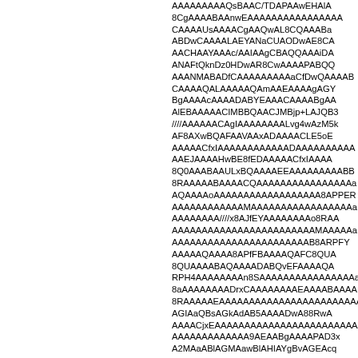AAEAAAAAAAAsATgNGBwAAAgBVAxgA...
AAAAAAAAAQsBAAC/TDAPAAwEHAlA...
8CgAAAABAAnwEAAAAAAAAAAAAAAAA...
CAAAAUsAAAACgAAQwAL8CQAAABa...
ABDwCAAAALAEYANaCUAODwAE8CA...
AACHAAYAAAC/AAIAAgCBAQQAAAiDA...
ANAFtQknDz0HDwAR8CwAAAAPABQQ...
AAANMA8ADfCAAAAAAAACfDwQAAAAB...
CAAAAQALAAAAAQAmAAEAAAAgAGY...
BgAAAAcAAAADABYEAAACAAAABgAA...
AlEBAAAAACIMBBQAACJMBjp+LAJQB3...
////AAAAAACAgIAAAAAAAALvg4wAzM5k...
AF8AXwBQAFAAVAAxADAAAACLE5oE...
AAAAACfxIAAAAAAAAAAAADAAAAAAAAAA...
AAEJAAAAHwBE8fEDAAAAACfxIAAAA...
8Q0AAABAAULxBQAAAAEEAAAAAAAABB...
8RAAAAABAAAACQAAAAAAAAAAAAAAAAa...
AQAAAAoAAAAAAAAAAAAAAAAAA8APPER...
AAAAAAAAAAAAMAAAAAAAAAAAAAAAAAA...
AAAAAAAA////x8AJfEYAAAAAAAAo8RAA...
AAAAAAAAAAAAAAAAAAAAAAAAMAAAAAA...
AAAAAAAAAAAAAAAAAAAAAAAAAB8ARPFY...
AAAAQAAAA8APfFBAAAAQAFC8QUA...
8QUAAAABAQAAAADABQvEFAAAAQA...
RPH4AAAAAAAAn8SAAAAAAAAAAAAAAAAa...
8aAAAAAAAADrxCAAAAAAAAEAAAABAAAA...
8RAAAAAEAAAAAAAAAAAAAAAAAAAAAAAAa...
AGIAaQBsAGkAdAB5AAAADwA88RwA...
AAAACjxEAAAAAAAAAAAAAAAAAAAAAAAAA...
AAAAAAAAAAAAAAAAA9AEAABgAAAAPAD3x...
A2MAaABlAGMAawBlAHIAYgBvAGEAcq...